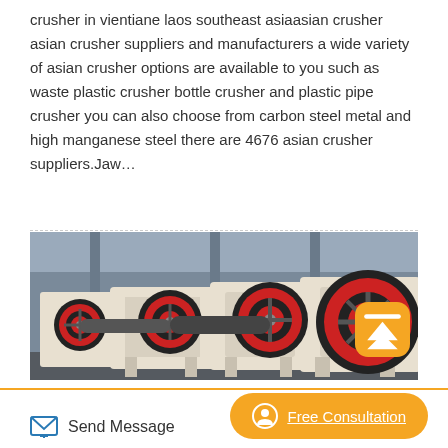crusher in vientiane laos southeast asiaasian crusher asian crusher suppliers and manufacturers a wide variety of asian crusher options are available to you such as waste plastic crusher bottle crusher and plastic pipe crusher you can also choose from carbon steel metal and high manganese steel there are 4676 asian crusher suppliers.Jaw…
[Figure (photo): Industrial jaw crusher machines lined up in a factory floor. White machines with large red and black flywheels/wheels are visible in a row. Factory ceiling and columns visible in the background.]
Send Message
Free Consultation